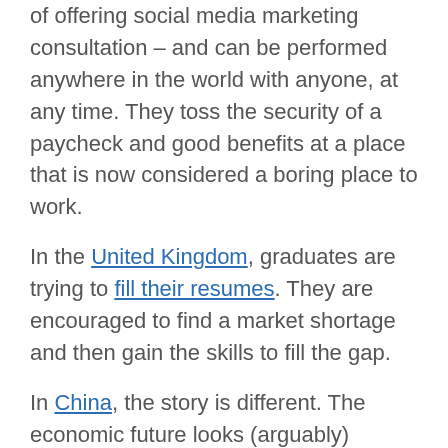of offering social media marketing consultation – and can be performed anywhere in the world with anyone, at any time. They toss the security of a paycheck and good benefits at a place that is now considered a boring place to work.
In the United Kingdom, graduates are trying to fill their resumes. They are encouraged to find a market shortage and then gain the skills to fill the gap.
In China, the story is different. The economic future looks (arguably) optimistic – China boasts more than 10% growth on average. The problem is that China is providing more than 6 million college graduates a year and the economy is not producing the number of jobs demanded by the graduates. The video below is a great 6 minute documentary on the issue, especially for international students traveling to China to broaden their interests and expand their resume.